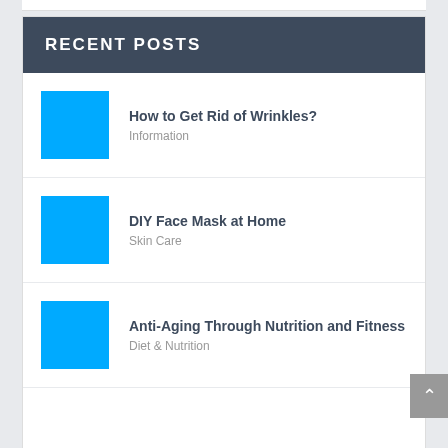RECENT POSTS
How to Get Rid of Wrinkles? — Information
DIY Face Mask at Home — Skin Care
Anti-Aging Through Nutrition and Fitness — Diet & Nutrition
Anti-Aging Tips for Neck, Hands and Chest (partial)